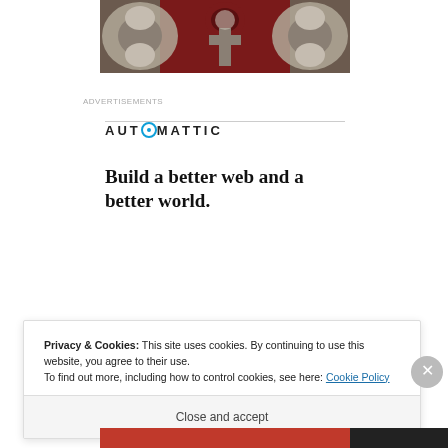[Figure (photo): Decorative ornamental image with dark red and silver baroque/gothic design, partially cropped at top of page]
Advertisements
[Figure (logo): Automattic logo: uppercase letters AUTOMATTIC with a circular compass-like icon replacing the O]
Build a better web and a better world.
[Figure (illustration): Blue Apply button and a circular photo of a man with glasses thinking, against a light beige background]
Privacy & Cookies: This site uses cookies. By continuing to use this website, you agree to their use.
To find out more, including how to control cookies, see here: Cookie Policy
Close and accept
[Figure (other): Bottom orange/red and dark strip banner at the very bottom of the page]